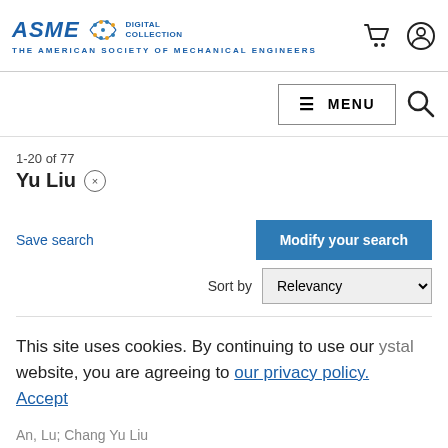ASME Digital Collection — The American Society of Mechanical Engineers
MENU (navigation bar)
1-20 of 77
Yu Liu ×
Save search
Modify your search
Sort by Relevancy
PROCEEDINGS PAPERS
Measurement of Temperature Distribution of a Flat- ... crystal
This site uses cookies. By continuing to use our website, you are agreeing to our privacy policy. Accept